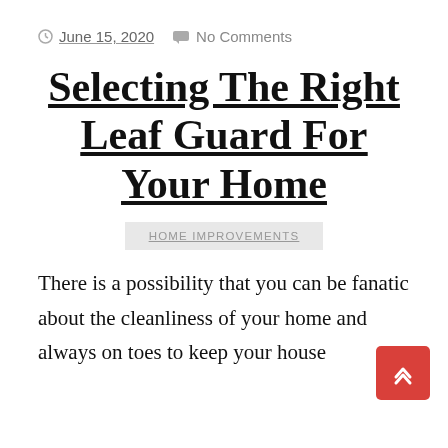June 15, 2020  No Comments
Selecting The Right Leaf Guard For Your Home
HOME IMPROVEMENTS
There is a possibility that you can be fanatic about the cleanliness of your home and always on toes to keep your house